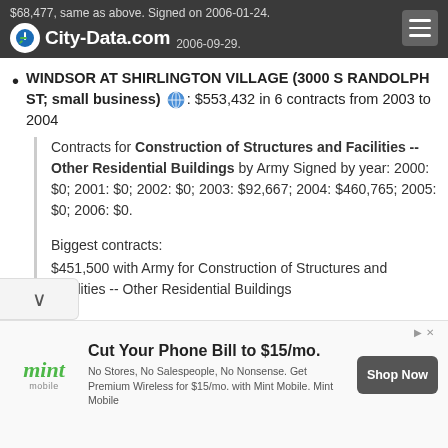$68,477, same as above. Signed on 2006-01-24. [date] 2006-09-29.
WINDSOR AT SHIRLINGTON VILLAGE (3000 S RANDOLPH ST; small business) [globe]: $553,432 in 6 contracts from 2003 to 2004
Contracts for Construction of Structures and Facilities -- Other Residential Buildings by Army Signed by year: 2000: $0; 2001: $0; 2002: $0; 2003: $92,667; 2004: $460,765; 2005: $0; 2006: $0.
Biggest contracts:
$451,500 with Army for Construction of Structures and Facilities -- Other Residential Buildings